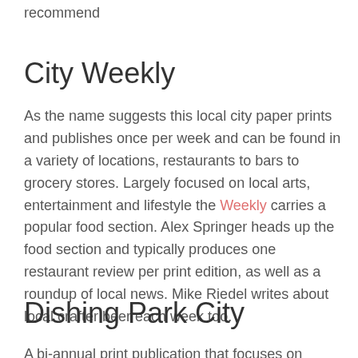recommend
City Weekly
As the name suggests this local city paper prints and publishes once per week and can be found in a variety of locations, restaurants to bars to grocery stores. Largely focused on local arts, entertainment and lifestyle the Weekly carries a popular food section. Alex Springer heads up the food section and typically produces one restaurant review per print edition, as well as a roundup of local news. Mike Riedel writes about local crafter beer each week too.
Dishing Park City
A bi-annual print publication that focuses on